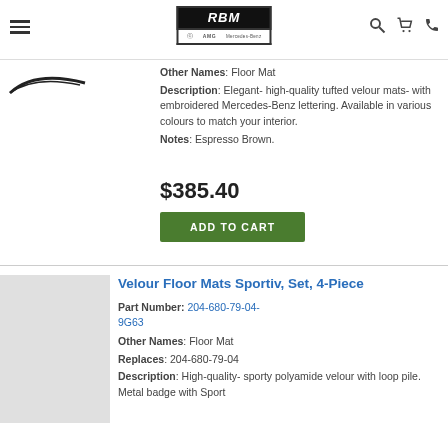RBM of Atlanta - Mercedes-Benz AMG Mercedes-Benz
Other Names: Floor Mat
Description: Elegant- high-quality tufted velour mats- with embroidered Mercedes-Benz lettering. Available in various colours to match your interior.
Notes: Espresso Brown.
$385.40
ADD TO CART
Velour Floor Mats Sportiv, Set, 4-Piece
Part Number: 204-680-79-04-9G63
Other Names: Floor Mat
Replaces: 204-680-79-04
Description: High-quality- sporty polyamide velour with loop pile. Metal badge with Sport